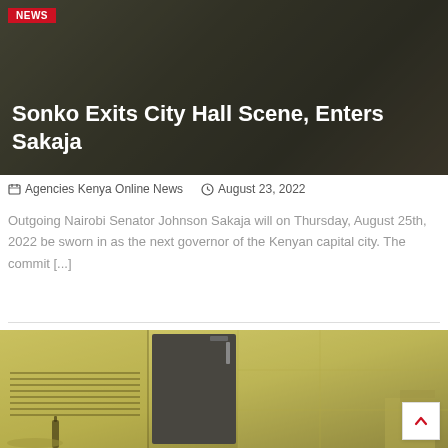[Figure (photo): Darkened photo of people in background with NEWS badge overlay and article headline title text]
Sonko Exits City Hall Scene, Enters Sakaja
Agencies Kenya Online News   August 23, 2022
Outgoing Nairobi Senator Johnson Sakaja will on Thursday, August 25th, 2022 be sworn in as the next governor of the Kenyan capital city. The commit [...]
[Figure (photo): Yellowish-tinted interior photo of a kitchen area with a dark refrigerator, window blinds, and tiled walls]